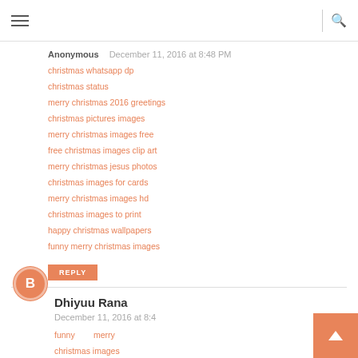Navigation and search bar
Anonymous  December 11, 2016 at 8:48 PM
christmas whatsapp dp
christmas status
merry christmas 2016 greetings
christmas pictures images
merry christmas images free
free christmas images clip art
merry christmas jesus photos
christmas images for cards
merry christmas images hd
christmas images to print
happy christmas wallpapers
funny merry christmas images
REPLY
Dhiyuu Rana  December 11, 2016 at 8:4...
funny   merry christmas images
happy christmas wallpapers
christmas images to print
merry christmas images hd